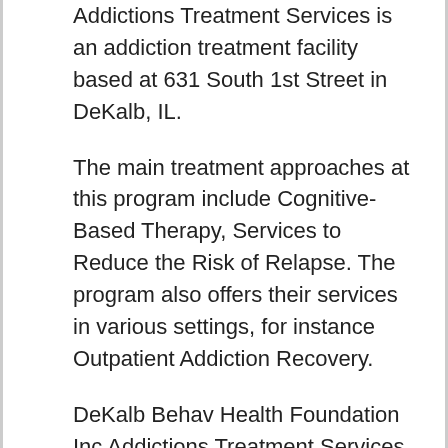Addictions Treatment Services is an addiction treatment facility based at 631 South 1st Street in DeKalb, IL.
The main treatment approaches at this program include Cognitive-Based Therapy, Services to Reduce the Risk of Relapse. The program also offers their services in various settings, for instance Outpatient Addiction Recovery.
DeKalb Behav Health Foundation Inc Addictions Treatment Services also offers a number of programs that are customized to address the needs of specific people such as: Drug Rehab for Persons with Co-Occurring Substance Use and Mental Disorders, Drug Rehab for Adolescents, Drug